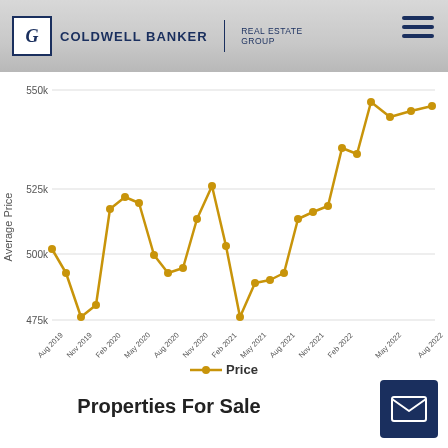[Figure (logo): Coldwell Banker Real Estate Group logo with hamburger menu icon]
[Figure (line-chart): Average Price over time]
Price
Properties For Sale